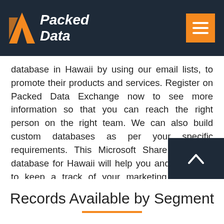Packed Data
database in Hawaii by using our email lists, to promote their products and services. Register on Packed Data Exchange now to see more information so that you can reach the right person on the right team. We can also build custom databases as per your specific requirements. This Microsoft SharePoint user database for Hawaii will help you and your reps to keep a track of your marketing campaign activities, the ones that hold a great impact on making sure that the number of opportunities landing into your sales funnel is high. We have different subscription plans starting from Pay as you go for start-ups to enterprise level to make Packed Data Exchange a one-stop-shop for all your data requirements.
Records Available by Segment